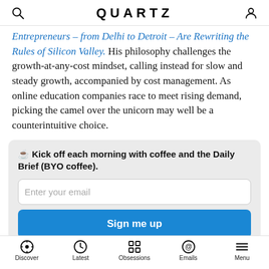QUARTZ
Entrepreneurs – from Delhi to Detroit – Are Rewriting the Rules of Silicon Valley. His philosophy challenges the growth-at-any-cost mindset, calling instead for slow and steady growth, accompanied by cost management. As online education companies race to meet rising demand, picking the camel over the unicorn may well be a counterintuitive choice.
☕ Kick off each morning with coffee and the Daily Brief (BYO coffee).
Discover | Latest | Obsessions | Emails | Menu